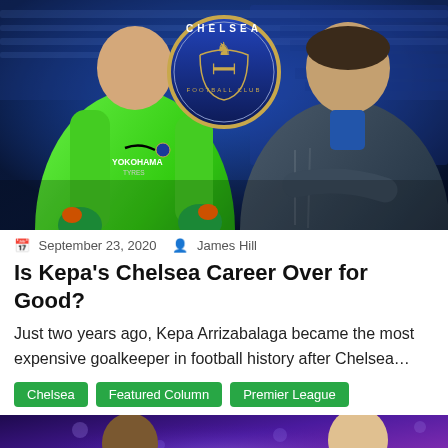[Figure (photo): Hero image showing Chelsea goalkeeper Kepa Arrizabalaga in green kit on the left, Chelsea FC badge/crest in the center top, and manager Frank Lampard in dark puffer jacket on the right, against a blue stadium background]
September 23, 2020   James Hill
Is Kepa's Chelsea Career Over for Good?
Just two years ago, Kepa Arrizabalaga became the most expensive goalkeeper in football history after Chelsea…
Chelsea   Featured Column   Premier League
[Figure (photo): Partial second article image showing a player on the left and another person on the right against a purple/blue bokeh background with what appears to be a Liverpool crest in the center]